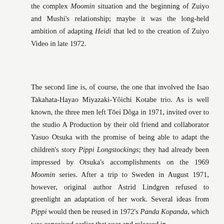the complex Moomin situation and the beginning of Zuiyo and Mushi's relationship; maybe it was the long-held ambition of adapting Heidi that led to the creation of Zuiyo Video in late 1972.
The second line is, of course, the one that involved the Isao Takahata-Hayao Miyazaki-Yôichi Kotabe trio. As is well known, the three men left Tōei Dôga in 1971, invited over to the studio A Production by their old friend and collaborator Yasuo Otsuka with the promise of being able to adapt the children's story Pippi Longstockings; they had already been impressed by Otsuka's accomplishments on the 1969 Moomin series. After a trip to Sweden in August 1971, however, original author Astrid Lindgren refused to greenlight an adaptation of her work. Several ideas from Pippi would then be reused in 1972's Panda Kopanda, which was conceived earlier that year and released in